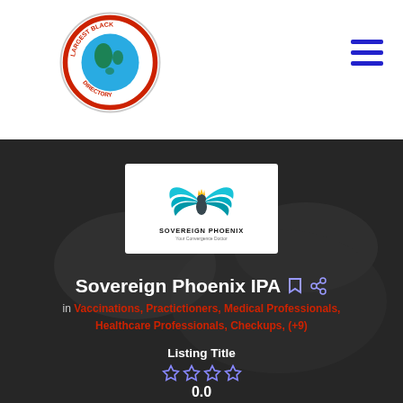[Figure (logo): Largest Black Directory circular logo with globe and text]
[Figure (logo): Sovereign Phoenix IPA logo with blue phoenix bird and tagline]
Sovereign Phoenix IPA
in Vaccinations, Practictioners, Medical Professionals, Healthcare Professionals, Checkups, (+9)
Listing Title
0.0